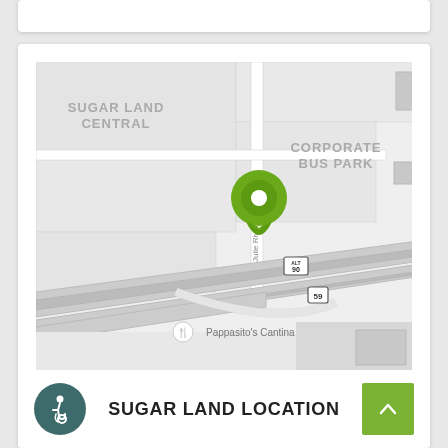[Figure (map): Street map showing Sugar Land location near Julie Rivers Dr, with Corporate Bus Park and Sugar Land Central labels, highway routes ALT 90 and 59, Pappasito's Cantina nearby, and a green map pin marker indicating the location.]
SUGAR LAND LOCATION